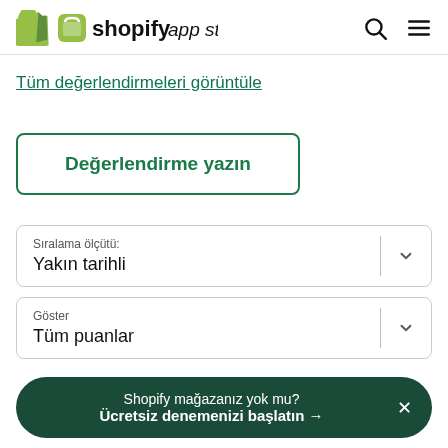shopify app store
Tüm değerlendirmeleri görüntüle
Değerlendirme yazın
Sıralama ölçütü: Yakın tarihli
Göster Tüm puanlar
Shopify mağazanız yok mu? Ücretsiz denemenizi başlatın →